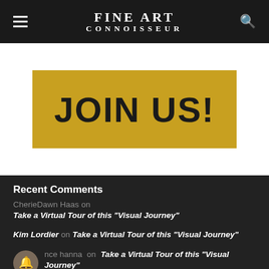FINE ART CONNOISSEUR
[Figure (other): JOIN US! promotional banner in gold/yellow background with bold black text]
Recent Comments
CherieDawn Haas on Take a Virtual Tour of this “Visual Journey”
Kim Lordier on Take a Virtual Tour of this “Visual Journey”
nce hanna on Take a Virtual Tour of this “Visual Journey”